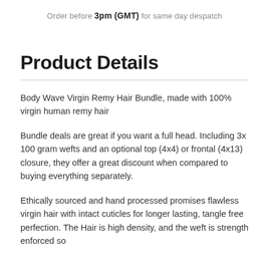Order before 3pm (GMT) for same day despatch
Product Details
Body Wave Virgin Remy Hair Bundle, made with 100% virgin human remy hair
Bundle deals are great if you want a full head. Including 3x 100 gram wefts and an optional top (4x4) or frontal (4x13) closure, they offer a great discount when compared to buying everything separately.
Ethically sourced and hand processed promises flawless virgin hair with intact cuticles for longer lasting, tangle free perfection. The Hair is high density, and the weft is strength enforced so